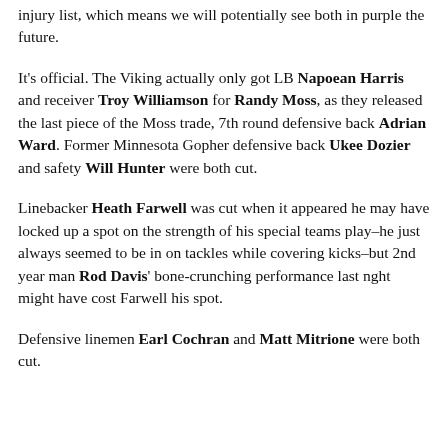injury list, which means we will potentially see both in purple the future.
It's official. The Viking actually only got LB Napoean Harris and receiver Troy Williamson for Randy Moss, as they released the last piece of the Moss trade, 7th round defensive back Adrian Ward. Former Minnesota Gopher defensive back Ukee Dozier and safety Will Hunter were both cut.
Linebacker Heath Farwell was cut when it appeared he may have locked up a spot on the strength of his special teams play–he just always seemed to be in on tackles while covering kicks–but 2nd year man Rod Davis' bone-crunching performance last nght might have cost Farwell his spot.
Defensive linemen Earl Cochran and Matt Mitrione were both cut.